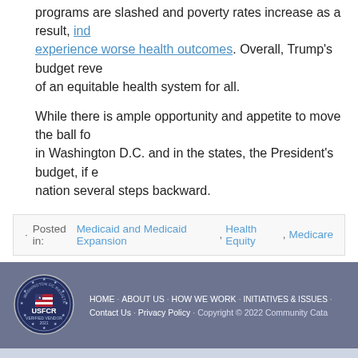programs are slashed and poverty rates increase as a result, individuals experience worse health outcomes. Overall, Trump's budget reveals a vision of an equitable health system for all.
While there is ample opportunity and appetite to move the ball forward in Washington D.C. and in the states, the President's budget, if enacted, takes the nation several steps backward.
Posted in: Medicaid and Medicaid Expansion, Health Equity, Medicare
[Figure (logo): USFCR Verified Vendor 2021 badge/seal]
HOME · ABOUT US · HOW WE WORK · INITIATIVES & ISSUES · Contact Us · Privacy Policy · Copyright © 2022 Community Catalyst
Site by Trilogy